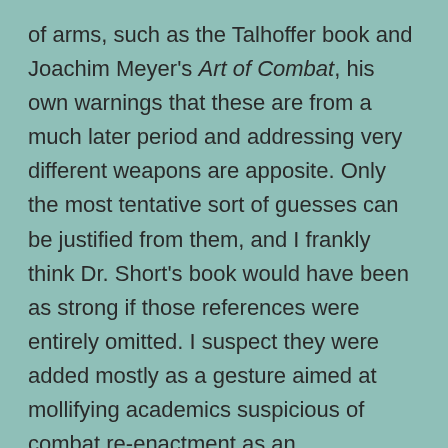of arms, such as the Talhoffer book and Joachim Meyer's Art of Combat, his own warnings that these are from a much later period and addressing very different weapons are apposite. Only the most tentative sort of guesses can be justified from them, and I frankly think Dr. Short's book would have been as strong if those references were entirely omitted. I suspect they were added mostly as a gesture aimed at mollifying academics suspicious of combat re-enactment as an investigative technique, by giving them a more conventional sort of scholarship to mull over.